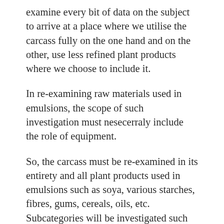examine every bit of data on the subject to arrive at a place where we utilise the carcass fully on the one hand and on the other, use less refined plant products where we choose to include it.
In re-examining raw materials used in emulsions, the scope of such investigation must nesecerraly include the role of equipment.
So, the carcass must be re-examined in its entirety and all plant products used in emulsions such as soya, various starches, fibres, gums, cereals, oils, etc. Subcategories will be investigated such as TVP and the various isolates?